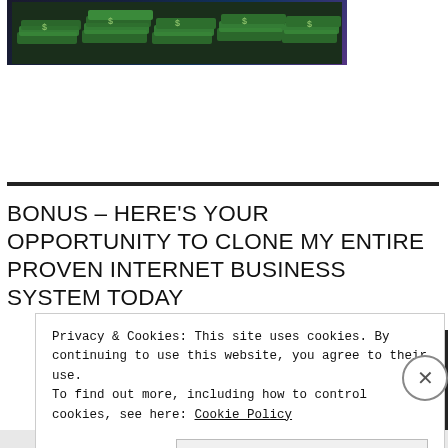[Figure (photo): Stacks of US dollar bills arranged on a dark blue/purple background, appearing as a promotional image for a money-making program.]
BONUS – HERE'S YOUR OPPORTUNITY TO CLONE MY ENTIRE PROVEN INTERNET BUSINESS SYSTEM TODAY
The CB Passive Income License Program 2.0
Privacy & Cookies: This site uses cookies. By continuing to use this website, you agree to their use.
To find out more, including how to control cookies, see here: Cookie Policy
Close and accept